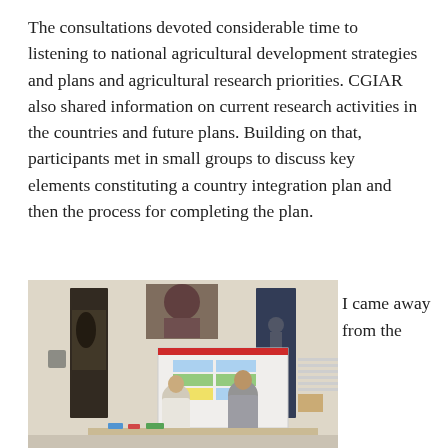The consultations devoted considerable time to listening to national agricultural development strategies and plans and agricultural research priorities. CGIAR also shared information on current research activities in the countries and future plans. Building on that, participants met in small groups to discuss key elements constituting a country integration plan and then the process for completing the plan.
[Figure (photo): Two people standing at a display table with research posters and banners on the wall behind them in a conference or exhibition setting]
I came away from the